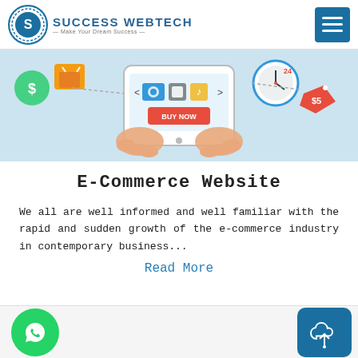Success Webtech — Make Your Dream Success
[Figure (illustration): E-commerce illustration showing hands holding a tablet with shopping elements including camera, phone, music note, shopping basket, clock, and price tag with BUY NOW button]
E-Commerce Website
We all are well informed and well familiar with the rapid and sudden growth of the e-commerce industry in contemporary business...
Read More